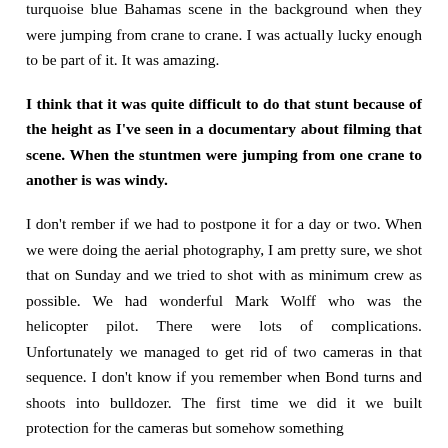turquoise blue Bahamas scene in the background when they were jumping from crane to crane. I was actually lucky enough to be part of it. It was amazing.
I think that it was quite difficult to do that stunt because of the height as I've seen in a documentary about filming that scene. When the stuntmen were jumping from one crane to another is was windy.
I don't rember if we had to postpone it for a day or two. When we were doing the aerial photography, I am pretty sure, we shot that on Sunday and we tried to shot with as minimum crew as possible. We had wonderful Mark Wolff who was the helicopter pilot. There were lots of complications. Unfortunately we managed to get rid of two cameras in that sequence. I don't know if you remember when Bond turns and shoots into bulldozer. The first time we did it we built protection for the cameras but somehow something